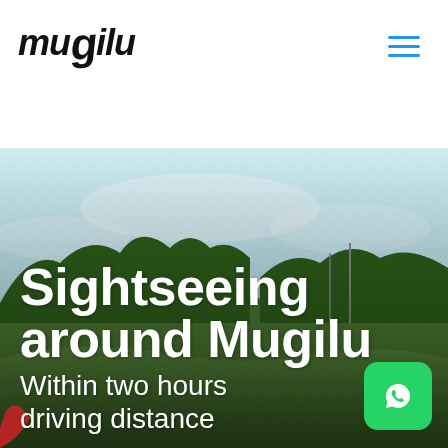mugilu
[Figure (photo): Landscape photo showing a green hillside with trees and an overcast sky, serving as the hero background for the Mugilu sightseeing page.]
Sightseeing around Mugilu
Within two hours driving distance